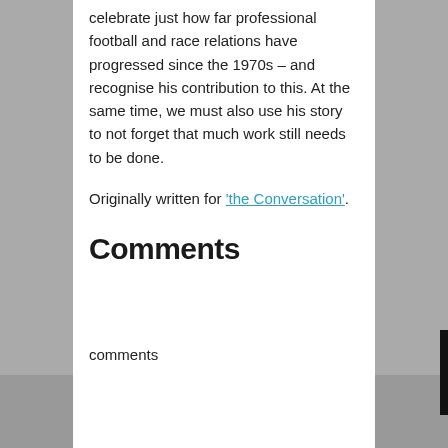celebrate just how far professional football and race relations have progressed since the 1970s – and recognise his contribution to this. At the same time, we must also use his story to not forget that much work still needs to be done.
Originally written for 'the Conversation'.
Comments
comments